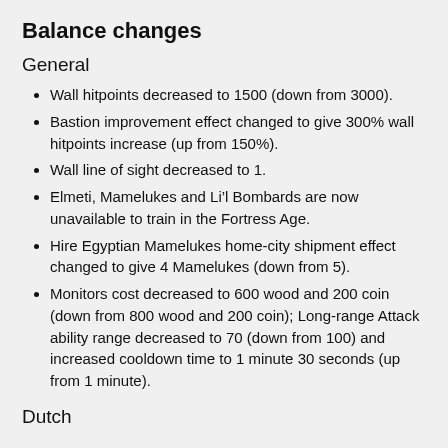Balance changes
General
Wall hitpoints decreased to 1500 (down from 3000).
Bastion improvement effect changed to give 300% wall hitpoints increase (up from 150%).
Wall line of sight decreased to 1.
Elmeti, Mamelukes and Li’l Bombards are now unavailable to train in the Fortress Age.
Hire Egyptian Mamelukes home-city shipment effect changed to give 4 Mamelukes (down from 5).
Monitors cost decreased to 600 wood and 200 coin (down from 800 wood and 200 coin); Long-range Attack ability range decreased to 70 (down from 100) and increased cooldown time to 1 minute 30 seconds (up from 1 minute).
Dutch